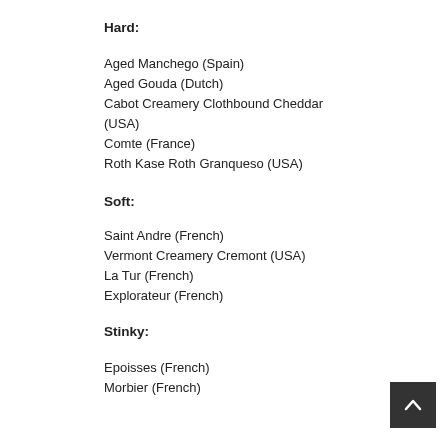Hard:
Aged Manchego (Spain)
Aged Gouda (Dutch)
Cabot Creamery Clothbound Cheddar (USA)
Comte (France)
Roth Kase Roth Granqueso (USA)
Soft:
Saint Andre  (French)
Vermont Creamery Cremont (USA)
La Tur (French)
Explorateur (French)
Stinky:
Epoisses (French)
Morbier (French)